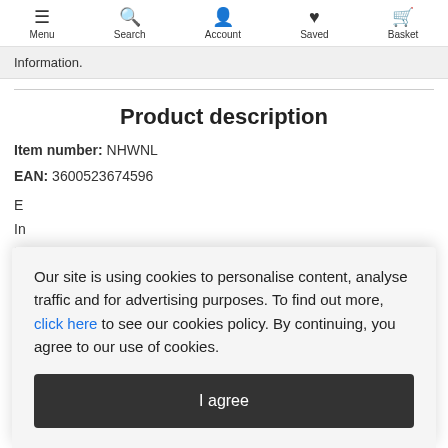Menu  Search  Account  Saved  Basket
Information.
Product description
Item number: NHWNL
EAN: 3600523674596
Our site is using cookies to personalise content, analyse traffic and for advertising purposes. To find out more, click here to see our cookies policy. By continuing, you agree to our use of cookies.
I agree